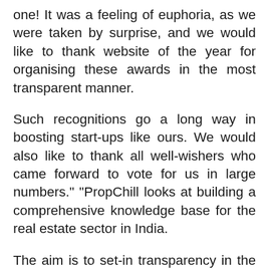one! It was a feeling of euphoria, as we were taken by surprise, and we would like to thank website of the year for organising these awards in the most transparent manner.
Such recognitions go a long way in boosting start-ups like ours. We would also like to thank all well-wishers who came forward to vote for us in large numbers." "PropChill looks at building a comprehensive knowledge base for the real estate sector in India.
The aim is to set-in transparency in the real estate sector and empower the end user with digital tools.